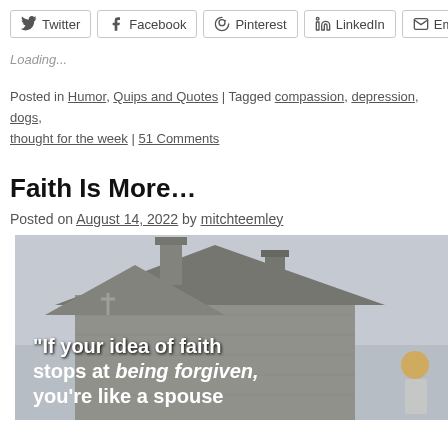Twitter | Facebook | Pinterest | LinkedIn | Email
Loading...
Posted in Humor, Quips and Quotes | Tagged compassion, depression, dogs, thought for the week | 51 Comments
Faith Is More…
Posted on August 14, 2022 by mitchteemley
[Figure (photo): Photo of a stone church building with a slate roof and chimney. Overlaid white bold text reads: "If your idea of faith stops at being forgiven, you're like a spouse"]